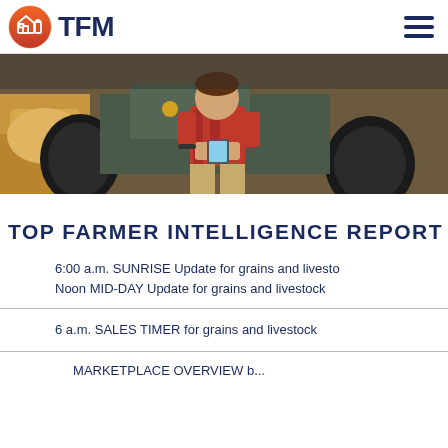TFM
[Figure (photo): Person in red plaid shirt sitting on a tractor holding a smartphone, with hay bales in the background]
TOP FARMER INTELLIGENCE REPORT DIREC
6:00 a.m. SUNRISE Update for grains and livesto
Noon MID-DAY Update for grains and livestock
6 a.m. SALES TIMER for grains and livestock
MARKETPLACE OVERVIEW b...